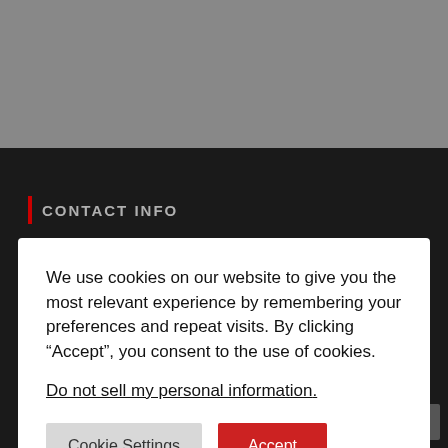CONTACT INFO
We use cookies on our website to give you the most relevant experience by remembering your preferences and repeat visits. By clicking “Accept”, you consent to the use of cookies.
Do not sell my personal information.
Cookie Settings
Accept
Email: sales@padskinz.ca
RECENT POSTS